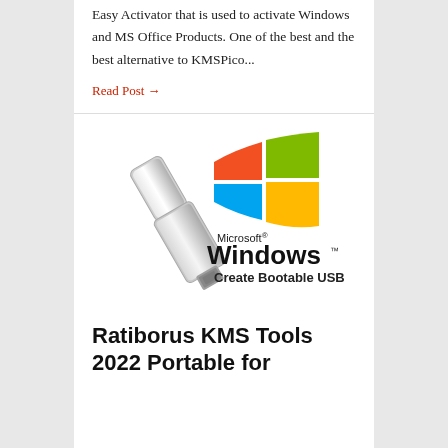Easy Activator that is used to activate Windows and MS Office Products. One of the best and the best alternative to KMSPico...
Read Post →
[Figure (illustration): USB flash drive next to Microsoft Windows logo with text 'Microsoft Windows Create Bootable USB']
Ratiborus KMS Tools 2022 Portable for